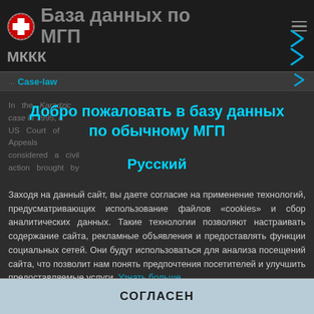База данных по МГП — МККК
Case-law
In the Karadzic case in 1995, a US Court of Appeals considered a civil action brought by
Добро пожаловать в базу данных по обычному МГП
Русский
Заходя на данный сайт, вы даете согласие на применение технологий, предусматривающих использование файлов «cookies» и сбор аналитических данных. Такие технологии позволяют настраивать содержание сайта, рекламные объявления и предоставлять функции социальных сетей. Они будут использоваться для анализа посещений сайта, что позволит нам понять предпочтения посетителей и улучшить предоставляемые услуги. Узнать больше
СОГЛАСЕН